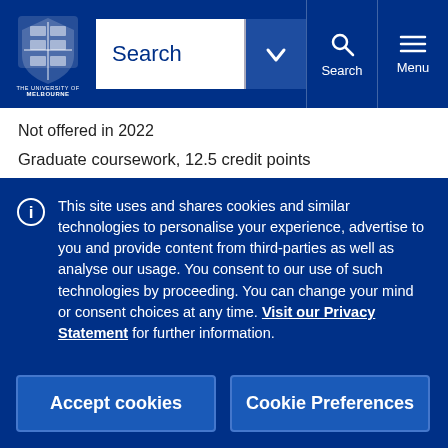[Figure (logo): University of Melbourne crest and wordmark logo in white on dark blue background]
Search
Not offered in 2022
Graduate coursework, 12.5 credit points
Supply Chain Challenges & Opportunities MGMT90257
This site uses and shares cookies and similar technologies to personalise your experience, advertise to you and provide content from third-parties as well as analyse our usage. You consent to our use of such technologies by proceeding. You can change your mind or consent choices at any time. Visit our Privacy Statement for further information.
Accept cookies
Cookie Preferences